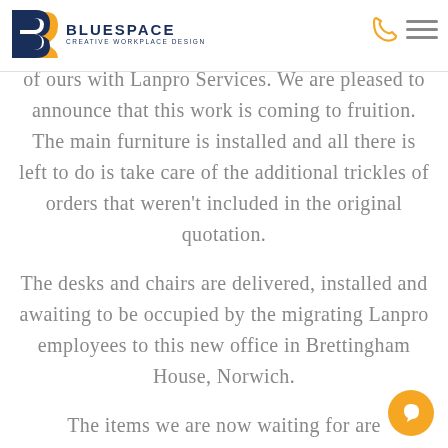BLUESPACE CREATIVE WORKPLACE DESIGN
of ours with Lanpro Services. We are pleased to announce that this work is coming to fruition. The main furniture is installed and all there is left to do is take care of the additional trickles of orders that weren't included in the original quotation.
The desks and chairs are delivered, installed and awaiting to be occupied by the migrating Lanpro employees to this new office in Brettingham House, Norwich.
The items we are now waiting for are